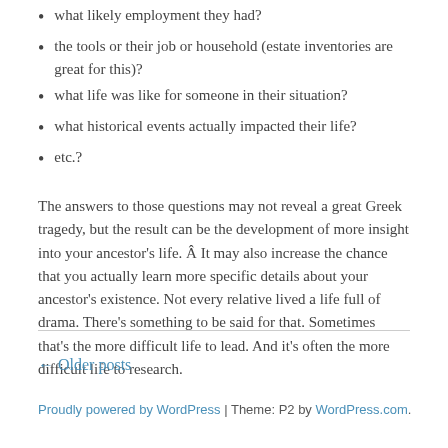what likely employment they had?
the tools or their job or household (estate inventories are great for this)?
what life was like for someone in their situation?
what historical events actually impacted their life?
etc.?
The answers to those questions may not reveal a great Greek tragedy, but the result can be the development of more insight into your ancestor's life. Â It may also increase the chance that you actually learn more specific details about your ancestor's existence. Not every relative lived a life full of drama. There's something to be said for that. Sometimes that's the more difficult life to lead. And it's often the more difficult life to research.
← Older posts
Proudly powered by WordPress | Theme: P2 by WordPress.com.